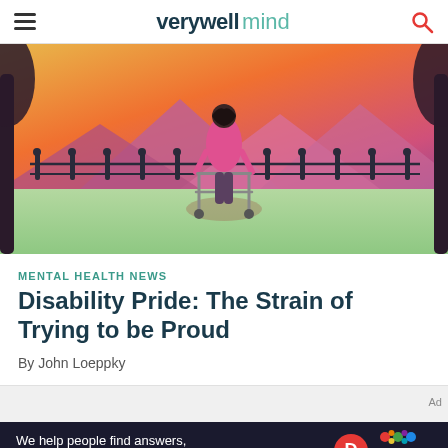verywell mind
[Figure (illustration): Colorful illustration of a person from behind using a walker, standing near a fence in a park with a vivid orange and yellow sunset sky, mountains in background, and dark tree silhouettes on the sides.]
MENTAL HEALTH NEWS
Disability Pride: The Strain of Trying to be Proud
By John Loeppky
[Figure (infographic): Bottom advertisement banner: 'We help people find answers, solve problems and get inspired.' with Dotdash Meredith logo.]